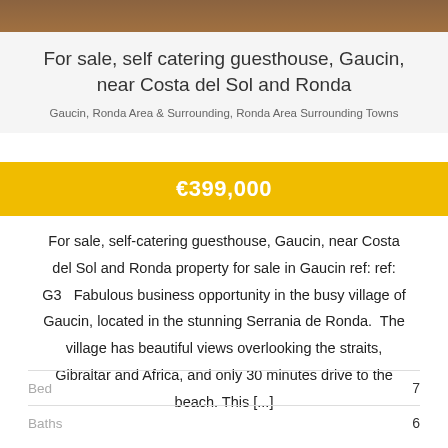[Figure (photo): Top strip showing a brown/amber colored photo banner]
For sale, self catering guesthouse, Gaucin, near Costa del Sol and Ronda
Gaucin, Ronda Area & Surrounding, Ronda Area Surrounding Towns
€399,000
For sale, self-catering guesthouse, Gaucin, near Costa del Sol and Ronda property for sale in Gaucin ref: ref: G3   Fabulous business opportunity in the busy village of Gaucin, located in the stunning Serrania de Ronda.  The village has beautiful views overlooking the straits, Gibraltar and Africa, and only 30 minutes drive to the beach. This [...]
Bed   7
Baths   6